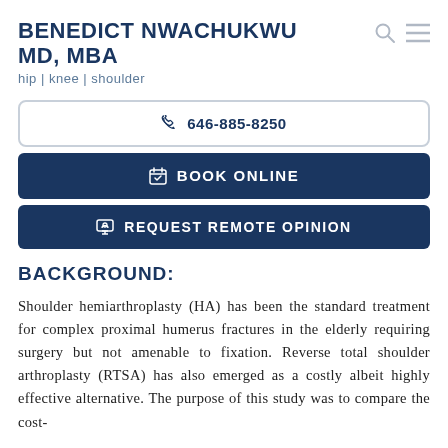BENEDICT NWACHUKWU MD, MBA
hip | knee | shoulder
646-885-8250
BOOK ONLINE
REQUEST REMOTE OPINION
BACKGROUND:
Shoulder hemiarthroplasty (HA) has been the standard treatment for complex proximal humerus fractures in the elderly requiring surgery but not amenable to fixation. Reverse total shoulder arthroplasty (RTSA) has also emerged as a costly albeit highly effective alternative. The purpose of this study was to compare the cost-